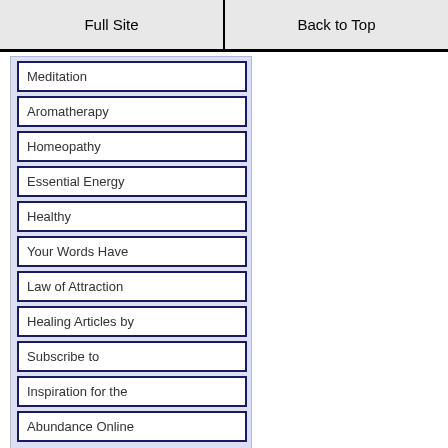Full Site | Back to Top
Meditation
Aromatherapy
Homeopathy
Essential Energy
Healthy
Your Words Have
Law of Attraction
Healing Articles by
Subscribe to
Inspiration for the
Abundance Online
[?] Subscribe To This Site